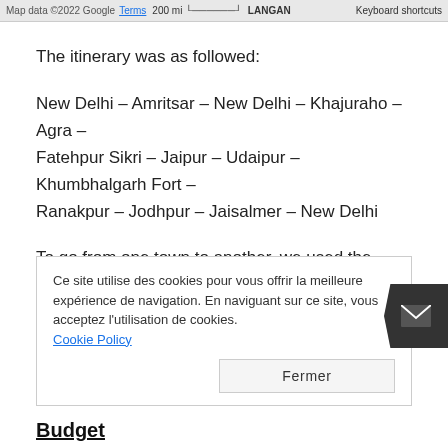Map data ©2022 Google  Terms  200 mi  LANGAN  Keyboard shortcuts
The itinerary was as followed:
New Delhi – Amritsar – New Delhi – Khajuraho – Agra – Fatehpur Sikri – Jaipur – Udaipur – Khumbhalgarh Fort – Ranakpur – Jodhpur – Jaisalmer – New Delhi
To go from one town to another, we used the trains and tried almost all classes in existence: AC 2 and 3 Tier, Z class sitting unreserved, Sleeper class, AC Executive Chair.
Ce site utilise des cookies pour vous offrir la meilleure expérience de navigation. En naviguant sur ce site, vous acceptez l'utilisation de cookies. Cookie Policy
Budget